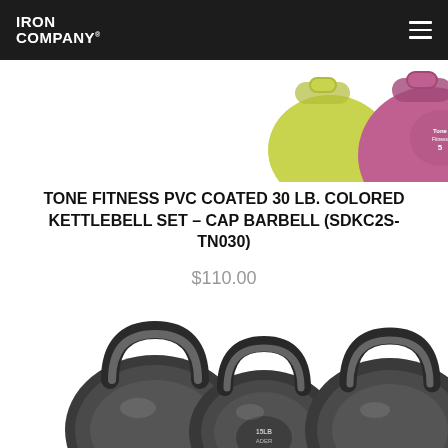IRON COMPANY
[Figure (photo): Colorful PVC coated kettlebells in purple and yellow/green tones, with a Tone Fitness logo visible on the purple one labeled '5'.]
TONE FITNESS PVC COATED 30 LB. COLORED KETTLEBELL SET – CAP BARBELL (SDKC2S-TN030)
$110.00
[Figure (photo): Three cast iron kettlebells of varying sizes arranged side by side, with a label reading '15LB ADER' visible on the center one.]